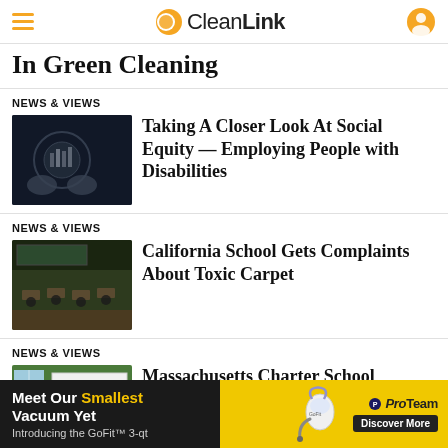CleanLink
In Green Cleaning
NEWS & VIEWS
[Figure (photo): Close-up of hands holding a glass sphere reflecting a city]
Taking A Closer Look At Social Equity — Employing People with Disabilities
NEWS & VIEWS
[Figure (photo): Empty classroom with desks and chairs, dark atmosphere]
California School Gets Complaints About Toxic Carpet
NEWS & VIEWS
[Figure (photo): Bright classroom with colorful chairs and green wall]
Massachusetts Charter School Cleaners Go Green
Meet Our Smallest Vacuum Yet — Introducing the GoFit™ 3-qt | ProTeam — Discover More